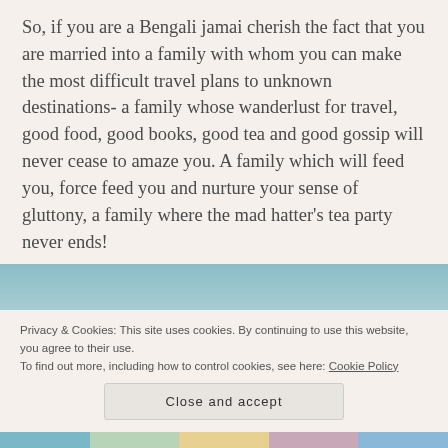So, if you are a Bengali jamai cherish the fact that you are married into a family with whom you can make the most difficult travel plans to unknown destinations- a family whose wanderlust for travel, good food, good books, good tea and good gossip will never cease to amaze you. A family which will feed you, force feed you and nurture your sense of gluttony, a family where the mad hatter's tea party never ends!
[Figure (photo): Partial photo strip visible at top of cookie banner area, appears to show food or travel images]
Privacy & Cookies: This site uses cookies. By continuing to use this website, you agree to their use.
To find out more, including how to control cookies, see here: Cookie Policy
Close and accept
[Figure (photo): Photo strip at the bottom of the page showing food/travel images]